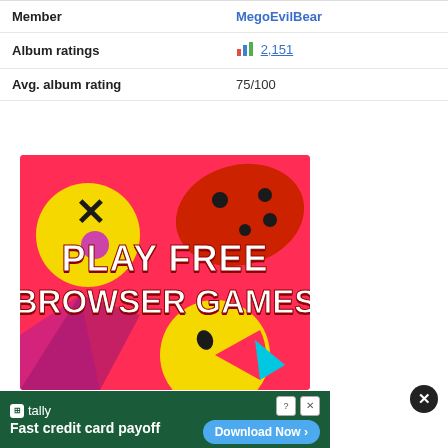|  |  |
| --- | --- |
| Member | MegoEvilBear |
| Album ratings | 2,151 |
| Avg. album rating | 75/100 |
[Figure (illustration): Advertisement banner for browser games showing 'PLAY FREE BROWSER GAMES' text in colorful cartoon style with game controller and emoji characters on pink/red background]
[Figure (illustration): Tally app advertisement banner with dark green background showing 'Fast credit card payoff' text and 'Download Now' button]